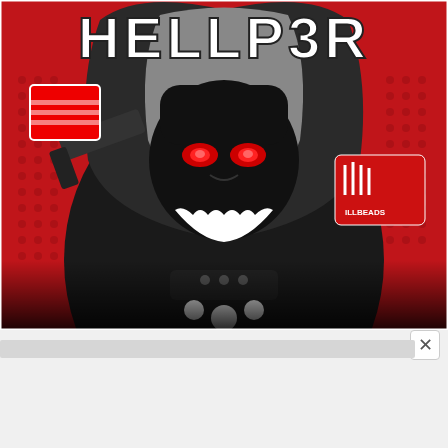[Figure (illustration): Comic-style illustration of a menacing hooded villain character with glowing red eyes and a wide grin, wearing black robes with white circular buttons. The background is red with black halftone dot patterns. At the top, bold stylized white text reads 'HELLP3R'. To the upper right is a logo/badge area with text 'ILLBEADS'. The character holds items on the left side. Overall dark, graphic novel aesthetic.]